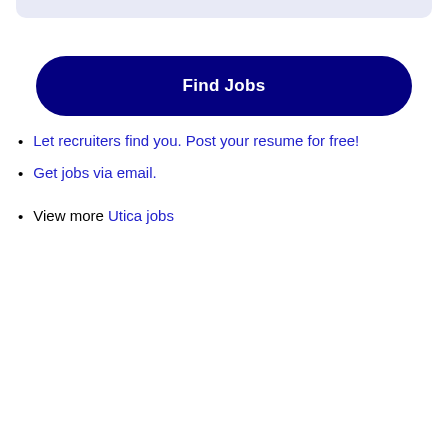Find Jobs
Let recruiters find you. Post your resume for free!
Get jobs via email.
View more Utica jobs